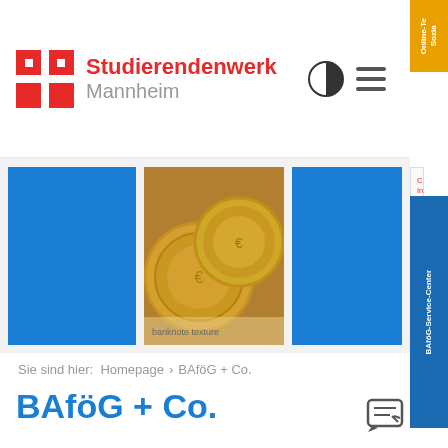[Figure (logo): Studierendenwerk Mannheim logo with red cross-like icon and red/gray text]
[Figure (photo): Banner with three images: two blue squares and a photo of euro coins]
Current information about our services and hours of operation during the Corona Pandemic can be found on our homepage.
Sie sind hier:  Homepage › BAföG + Co.
BAföG + Co.
Studying is almost like a full-time job. Time to work on the side is nearly impossible.
Those who want to sucessfully finish their studies on time must keep their mind free of financial worries about the...